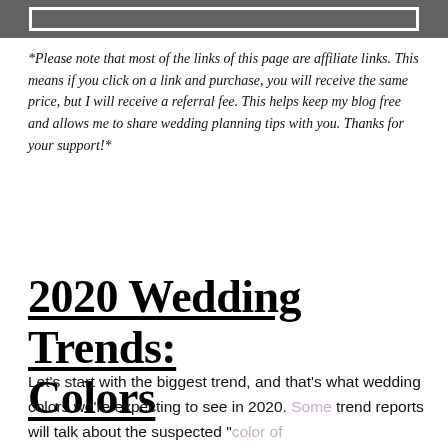[Figure (other): Dark gray header bar with a white rectangular border/frame inside]
*Please note that most of the links of this page are affiliate links. This means if you click on a link and purchase, you will receive the same price, but I will receive a referral fee. This helps keep my blog free and allows me to share wedding planning tips with you. Thanks for your support!*
2020 Wedding Trends: Colors
Let’s start with the biggest trend, and that’s what wedding colors we’re expecting to see in 2020. Some trend reports will talk about the suspected “color of the year”, and call it a day; however, am going to